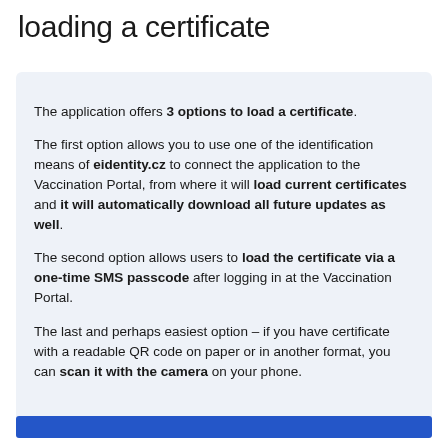loading a certificate
The application offers 3 options to load a certificate.

The first option allows you to use one of the identification means of eidentity.cz to connect the application to the Vaccination Portal, from where it will load current certificates and it will automatically download all future updates as well.

The second option allows users to load the certificate via a one-time SMS passcode after logging in at the Vaccination Portal.

The last and perhaps easiest option – if you have certificate with a readable QR code on paper or in another format, you can scan it with the camera on your phone.